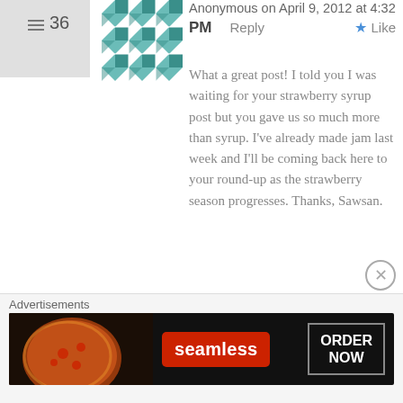Anonymous on April 9, 2012 at 4:32 PM  Reply  Like
What a great post! I told you I was waiting for your strawberry syrup post but you gave us so much more than syrup. I've already made jam last week and I'll be coming back here to your round-up as the strawberry season progresses. Thanks, Sawsan.
Sawsan@ Chef in disguise on April 11, 2012 at 7:56 AM  Reply  Like
You are most welcome 🙂 glad you enjoyed the post
Advertisements
[Figure (screenshot): Seamless food delivery advertisement banner showing pizza image, Seamless logo in red, and ORDER NOW button]